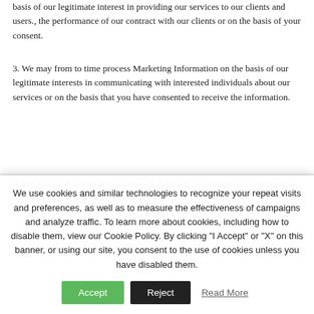basis of our legitimate interest in providing our services to our clients and users., the performance of our contract with our clients or on the basis of your consent.
3. We may from to time process Marketing Information on the basis of our legitimate interests in communicating with interested individuals about our services or on the basis that you have consented to receive the information.
4. We process Supplier Information on the basis of our legitimate interests in obtaining goods and services from
We use cookies and similar technologies to recognize your repeat visits and preferences, as well as to measure the effectiveness of campaigns and analyze traffic. To learn more about cookies, including how to disable them, view our Cookie Policy. By clicking "I Accept" or "X" on this banner, or using our site, you consent to the use of cookies unless you have disabled them.